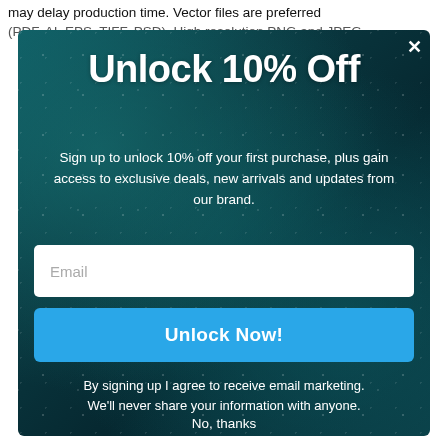may delay production time. Vector files are preferred (PDF, AI, EPS, TIFF, PSD). High resolution PNG and JPEG…
Unlock 10% Off
Sign up to unlock 10% off your first purchase, plus gain access to exclusive deals, new arrivals and updates from our brand.
Email
Unlock Now!
By signing up I agree to receive email marketing. We'll never share your information with anyone.
No, thanks